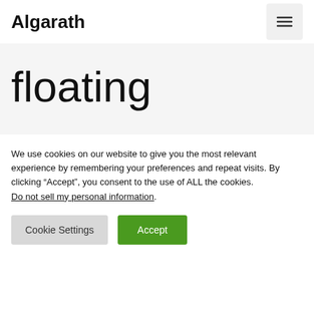Algarath
floating
We use cookies on our website to give you the most relevant experience by remembering your preferences and repeat visits. By clicking “Accept”, you consent to the use of ALL the cookies. Do not sell my personal information.
Cookie Settings | Accept